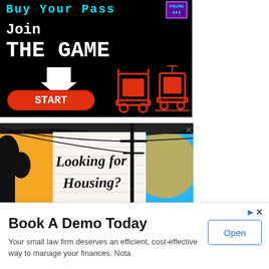[Figure (illustration): Transit game ad on black background with cyan 'Buy Your Pass' text, 'Join THE GAME' in white, a white down-arrow, a red START button, and red pixel-art bus and tram icons. Purple PROMO badge top right.]
[Figure (illustration): Housing advertisement with grunge brush-stroke art style, colorful background (orange, blue, white), reading 'Looking for Housing?' in bold hand-drawn font with a telephone pole graphic.]
Read this story in The Source App
Book A Demo Today
Your small law firm deserves an efficient, cost-effective way to manage your finances. Nota